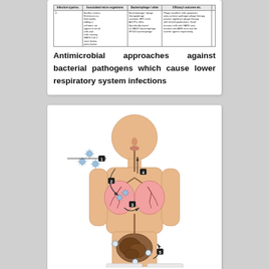[Figure (table-as-image): Partial view of a table about antimicrobial approaches, showing rows with infection types, bacterial agents, treatment approaches, and efficacy notes]
Antimicrobial approaches against bacterial pathogens which cause lower respiratory system infections
[Figure (illustration): Anatomical diagram of a human body showing respiratory system infection pathway with numbered steps 1-5: inhaled pathogens entering through nose/mouth (1), traveling to lungs (2,3), mucociliary clearance upward (4), and gut involvement (5). Shows lungs, intestines, and pathogen particles (depicted as blue spiky spheres).]